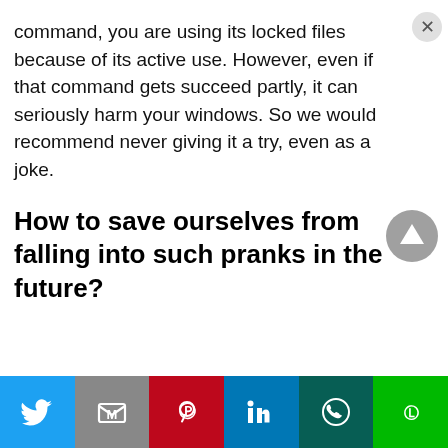command, you are using its locked files because of its active use. However, even if that command gets succeed partly, it can seriously harm your windows. So we would recommend never giving it a try, even as a joke.
How to save ourselves from falling into such pranks in the future?